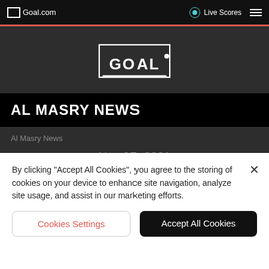Goal.com  Live Scores
[Figure (logo): Goal.com logo - white text GOAL inside a goal-post frame on dark background]
AL MASRY NEWS
Al Masry News
Nov 25, 2021
[Figure (photo): Article image showing football players, partially visible]
By clicking "Accept All Cookies", you agree to the storing of cookies on your device to enhance site navigation, analyze site usage, and assist in our marketing efforts.
Cookies Settings
Accept All Cookies